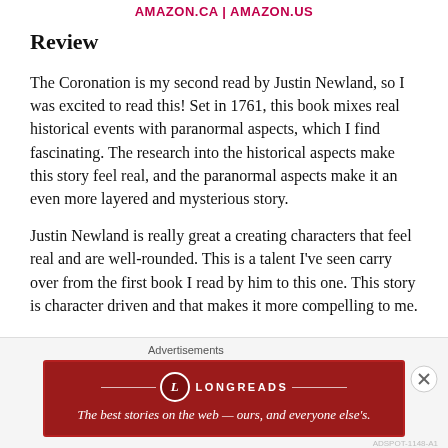AMAZON.CA | AMAZON.US
Review
The Coronation is my second read by Justin Newland, so I was excited to read this! Set in 1761, this book mixes real historical events with paranormal aspects, which I find fascinating. The research into the historical aspects make this story feel real, and the paranormal aspects make it an even more layered and mysterious story.
Justin Newland is really great a creating characters that feel real and are well-rounded. This is a talent I've seen carry over from the first book I read by him to this one. This story is character driven and that makes it more compelling to me.
[Figure (other): Longreads advertisement banner: dark red background with Longreads logo and tagline 'The best stories on the web — ours, and everyone else's.']